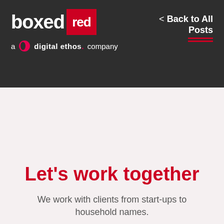[Figure (logo): Boxed Red logo - white text 'boxed' with red box containing 'red', tagline 'a digital ethos. company' with pink speech bubble icon]
< Back to All Posts
Let's work together
We work with clients from start-ups to household names.